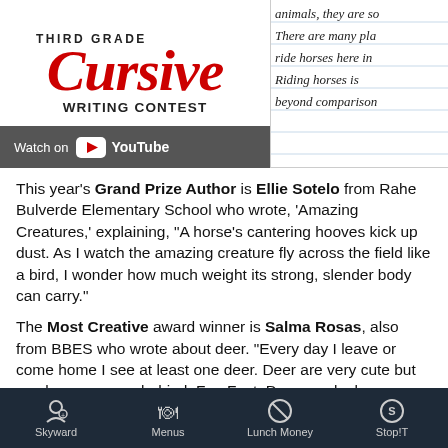[Figure (logo): Third Grade Cursive Writing Contest logo with red cursive lettering and YouTube watch bar below]
[Figure (photo): Handwritten cursive text on lined paper, partially visible, showing words like 'animals they are so', 'There are many pla...', 'ride horses here in', 'Riding horses is', 'beyond comparison']
This year's Grand Prize Author is Ellie Sotelo from Rahe Bulverde Elementary School who wrote, 'Amazing Creatures,' explaining, "A horse's cantering hooves kick up dust. As I watch the amazing creature fly across the field like a bird, I wonder how much weight its strong, slender body can carry."
The Most Creative award winner is Salma Rosas, also from BBES who wrote about deer. "Every day I leave or come home I see at least one deer. Deer are very cute but can leave a mess behind. Fun Fact: Deer poo looks
Skyward   Menus   Lunch Money   Stop!T